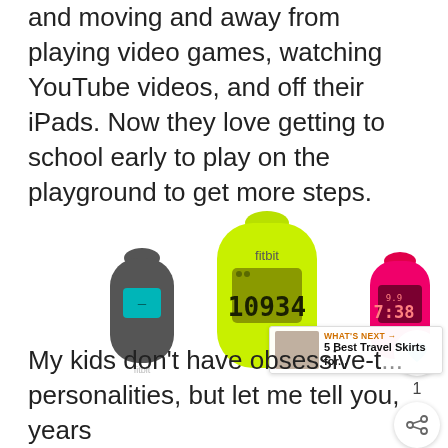and moving and away from playing video games, watching YouTube videos, and off their iPads. Now they love getting to school early to play on the playground to get more steps.
[Figure (photo): Four Fitbit Zip fitness trackers in different colors: dark gray, lime green (showing 10934 steps), hot pink (showing 7:38), and navy blue (showing 1652 steps). The lime green one is the largest/foreground, with 'fitbit' text above its display.]
My kids don't have obsessive-t... personalities, but let me tell you, years